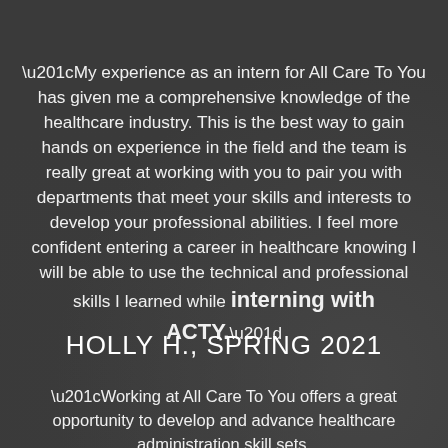“My experience as an intern for All Care To You has given me a comprehensive knowledge of the healthcare industry. This is the best way to gain hands on experience in the field and the team is really great at working with you to pair you with departments that meet your skills and interests to develop your professional abilities. I feel more confident entering a career in healthcare knowing I will be able to use the technical and professional skills I learned while interning with ACTY.”
HOLLY H., SPRING 2021
“Working at All Care To You offers a great opportunity to develop and advance healthcare administration skill sets.